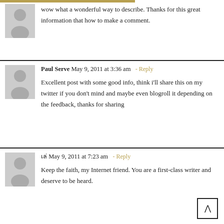wow what a wonderful way to describe. Thanks for this great information that how to make a comment.
Paul Serve May 9, 2011 at 3:36 am - Reply
Excellent post with some good info, think i'll share this on my twitter if you don't mind and maybe even blogroll it depending on the feedback, thanks for sharing
หาก นี้ May 9, 2011 at 7:23 am - Reply
Keep the faith, my Internet friend. You are a first-class writer and deserve to be heard.